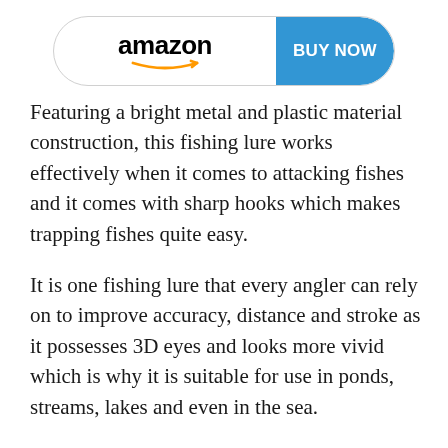[Figure (logo): Amazon 'Buy Now' button with Amazon logo on white left side and 'BUY NOW' text on blue right side, rounded rectangle shape]
Featuring a bright metal and plastic material construction, this fishing lure works effectively when it comes to attacking fishes and it comes with sharp hooks which makes trapping fishes quite easy.
It is one fishing lure that every angler can rely on to improve accuracy, distance and stroke as it possesses 3D eyes and looks more vivid which is why it is suitable for use in ponds, streams, lakes and even in the sea.